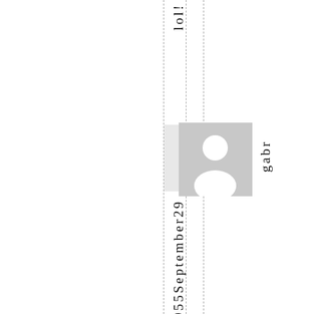[Figure (illustration): Vertical layout with dashed guide lines, a placeholder profile photo (gray square with white silhouette person icon), text reading 'lol!' vertically at top, and text 'gabr' to the right of image, followed by 'ielfa955September29' continuing vertically below.]
lol!gabrielfa955September29